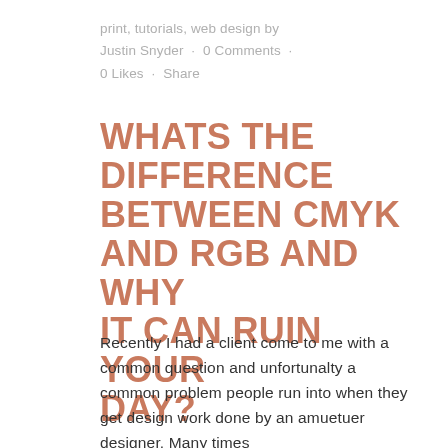print, tutorials, web design by Justin Snyder · 0 Comments · 0 Likes · Share
WHATS THE DIFFERENCE BETWEEN CMYK AND RGB AND WHY IT CAN RUIN YOUR DAY?
Recently I had a client come to me with a common question and unfortunalty a common problem people run into when they get design work done by an amuetuer designer. Many times